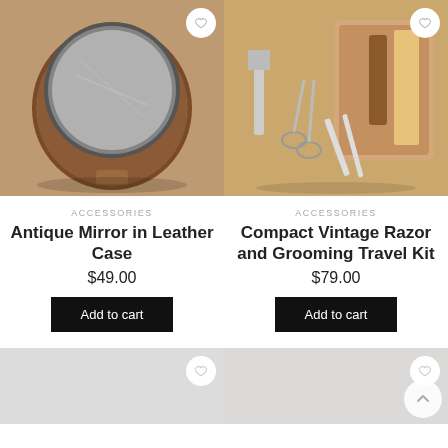[Figure (photo): Antique mirror in a round leather case, opened, on a wooden surface]
[Figure (photo): Compact vintage razor and grooming travel kit with scissors, tweezers, and nail file in an open leather case on a wooden surface]
ACCESSORIES
Antique Mirror in Leather Case
$49.00
Add to cart
ACCESSORIES
Compact Vintage Razor and Grooming Travel Kit
$79.00
Add to cart
[Figure (photo): Partial product image (bottom, cut off) — light colored background]
[Figure (photo): Partial product image (bottom, cut off) — light colored background with scroll-to-top button]